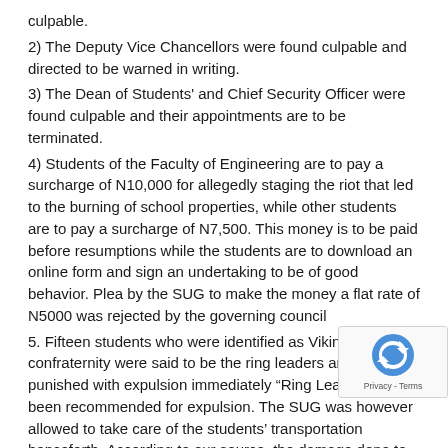culpable.
2) The Deputy Vice Chancellors were found culpable and directed to be warned in writing.
3) The Dean of Students' and Chief Security Officer were found culpable and their appointments are to be terminated.
4) Students of the Faculty of Engineering are to pay a surcharge of N10,000 for allegedly staging the riot that led to the burning of school properties, while other students are to pay a surcharge of N7,500. This money is to be paid before resumptions while the students are to download an online form and sign an undertaking to be of good behavior. Plea by the SUG to make the money a flat rate of N5000 was rejected by the governing council
5. Fifteen students who were identified as Vikings confraternity were said to be the ring leaders and are to be punished with expulsion immediately “Ring Leaders” have been recommended for expulsion. The SUG was however allowed to take care of the students’ transportation henceforth. According to our source, the damage done to the school was put at N122 million. It will be recalled students protested in the hike of their transportation fare from Engineering department, an act which led to riot, where men According to our well called here as not as based as